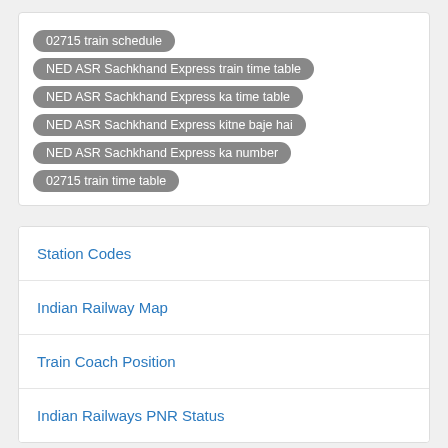02715 train schedule | NED ASR Sachkhand Express train time table | NED ASR Sachkhand Express ka time table | NED ASR Sachkhand Express kitne baje hai | NED ASR Sachkhand Express ka number | 02715 train time table
Station Codes
Indian Railway Map
Train Coach Position
Indian Railways PNR Status
02716 Train Route: Asr-ned Sachkhand Exp
02717 Train Route: Vskp-bza Ratnachal Exp